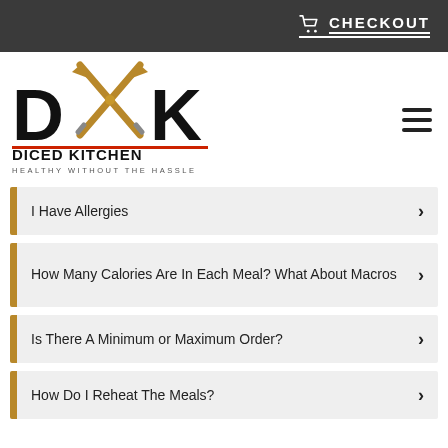CHECKOUT
[Figure (logo): Diced Kitchen logo with crossed chef's knives between letters D and K, text 'DICED KITCHEN' and 'HEALTHY WITHOUT THE HASSLE']
I Have Allergies
How Many Calories Are In Each Meal? What About Macros
Is There A Minimum or Maximum Order?
How Do I Reheat The Meals?